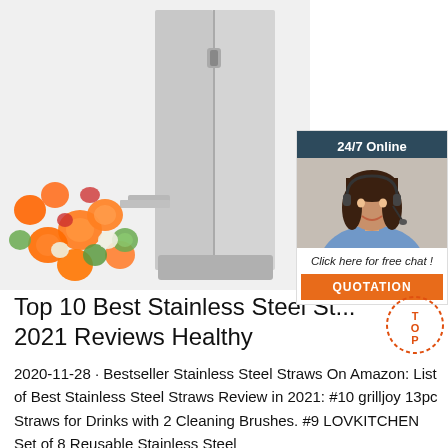[Figure (photo): A stainless steel commercial food slicer/chopper machine with sliced vegetables (carrots, cucumbers, peppers) flying out of it on a white background.]
[Figure (infographic): A 24/7 online chat widget showing a woman with a headset smiling, a 'Click here for free chat!' call to action, and a orange QUOTATION button. Header says '24/7 Online'.]
Top 10 Best Stainless Steel St... 2021 Reviews Healthy
2020-11-28 · Bestseller Stainless Steel Straws On Amazon: List of Best Stainless Steel Straws Review in 2021: #10 grilljoy 13pc Straws for Drinks with 2 Cleaning Brushes. #9 LOVKITCHEN Set of 8 Reusable Stainless Steel